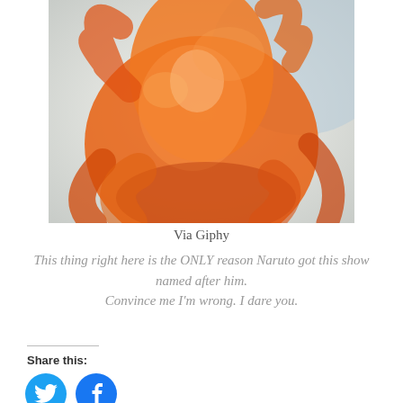[Figure (photo): Blurry orange-toned anime image, likely depicting a character surrounded by orange energy or fire, possibly from Naruto anime.]
Via Giphy
This thing right here is the ONLY reason Naruto got this show named after him.
Convince me I'm wrong. I dare you.
Share this: